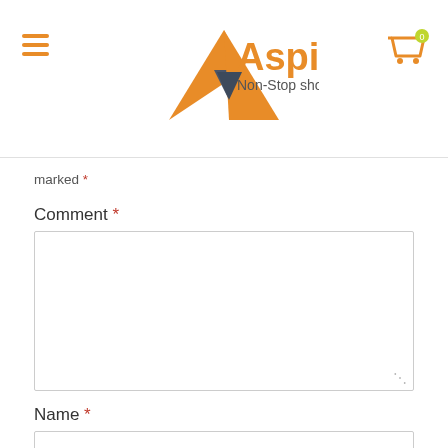Aspire Non-Stop shopping
marked *
Comment *
Name *
Email *